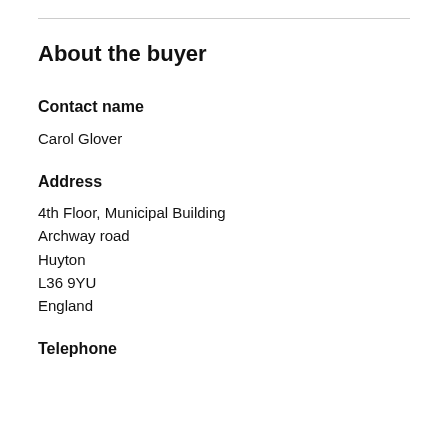About the buyer
Contact name
Carol Glover
Address
4th Floor, Municipal Building
Archway road
Huyton
L36 9YU
England
Telephone